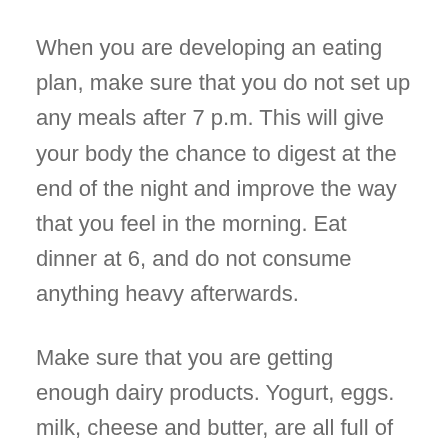When you are developing an eating plan, make sure that you do not set up any meals after 7 p.m. This will give your body the chance to digest at the end of the night and improve the way that you feel in the morning. Eat dinner at 6, and do not consume anything heavy afterwards.
Make sure that you are getting enough dairy products. Yogurt, eggs. milk, cheese and butter, are all full of vitamins that our bodies need. The nutrition found in dairy products, cannot be found in any other food group, so it is important that you eat your recommended amount of dairy.
Make a salad for dinner. You can add chicken, fish, or other lean meats, as well as lots of fresh veggies